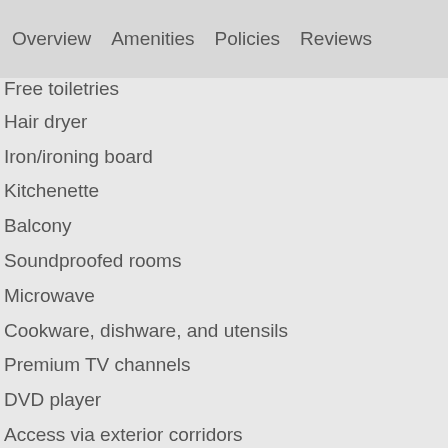Overview   Amenities   Policies   Reviews
Free toiletries
Hair dryer
Iron/ironing board
Kitchenette
Balcony
Soundproofed rooms
Microwave
Cookware, dishware, and utensils
Premium TV channels
DVD player
Access via exterior corridors
Blackout drapes/curtains
Stovetop
Cable TV service
Individually furnished
Individually decorated
LCD TV